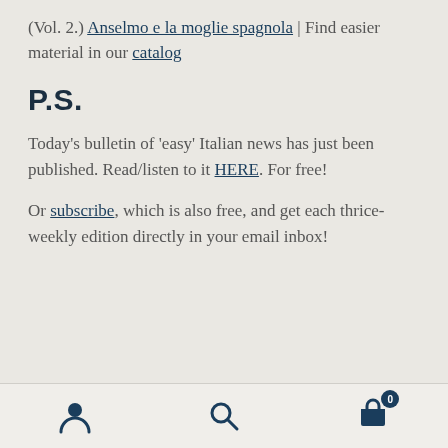(Vol. 2.) Anselmo e la moglie spagnola | Find easier material in our catalog
P.S.
Today's bulletin of 'easy' Italian news has just been published. Read/listen to it HERE. For free!
Or subscribe, which is also free, and get each thrice-weekly edition directly in your email inbox!